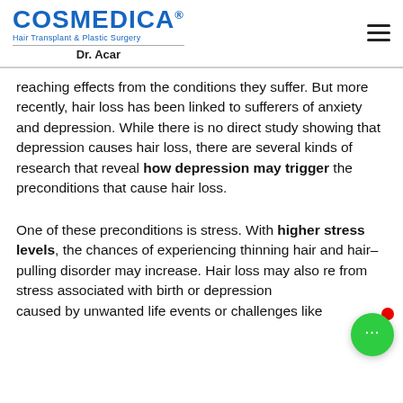COSMEDICA® Hair Transplant & Plastic Surgery Dr. Acar
reaching effects from the conditions they suffer. But more recently, hair loss has been linked to sufferers of anxiety and depression. While there is no direct study showing that depression causes hair loss, there are several kinds of research that reveal how depression may trigger the preconditions that cause hair loss.
One of these preconditions is stress. With higher stress levels, the chances of experiencing thinning hair and hair–pulling disorder may increase. Hair loss may also re from stress associated with birth or depression caused by unwanted life events or challenges like